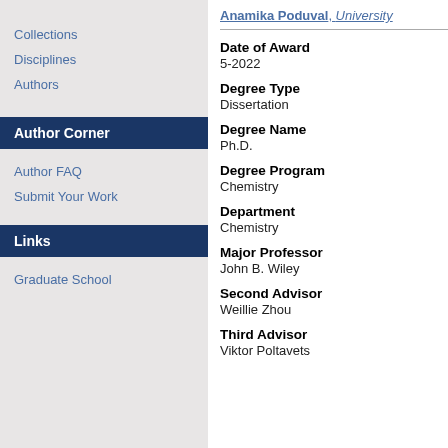Collections
Disciplines
Authors
Author Corner
Author FAQ
Submit Your Work
Links
Graduate School
Anamika Poduval, University
Date of Award
5-2022
Degree Type
Dissertation
Degree Name
Ph.D.
Degree Program
Chemistry
Department
Chemistry
Major Professor
John B. Wiley
Second Advisor
Weillie Zhou
Third Advisor
Viktor Poltavets